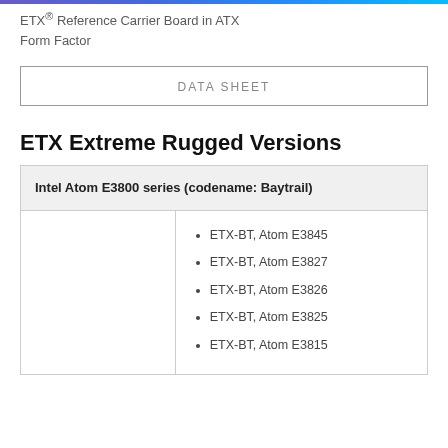ETX® Reference Carrier Board in ATX Form Factor
DATA SHEET
ETX Extreme Rugged Versions
| Intel Atom E3800 series (codename: Baytrail) |  |
| --- | --- |
|  | ETX-BT, Atom E3845
ETX-BT, Atom E3827
ETX-BT, Atom E3826
ETX-BT, Atom E3825
ETX-BT, Atom E3815 |